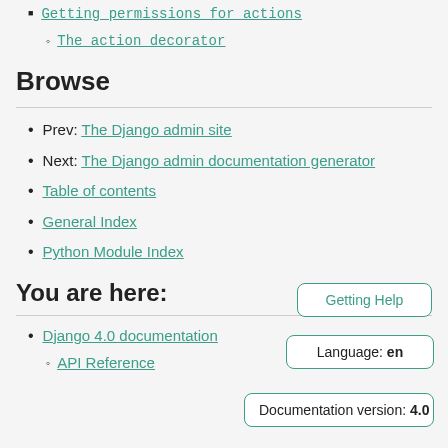Getting permissions for actions
The action decorator
Browse
Prev: The Django admin site
Next: The Django admin documentation generator
Table of contents
General Index
Python Module Index
You are here:
Django 4.0 documentation
API Reference
Getting Help
Language: en
Documentation version: 4.0